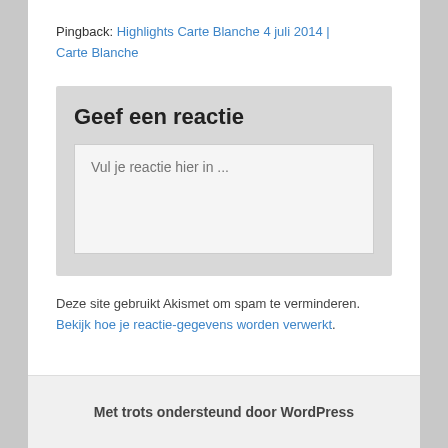Pingback: Highlights Carte Blanche 4 juli 2014 | Carte Blanche
Geef een reactie
Vul je reactie hier in ...
Deze site gebruikt Akismet om spam te verminderen. Bekijk hoe je reactie-gegevens worden verwerkt.
Met trots ondersteund door WordPress